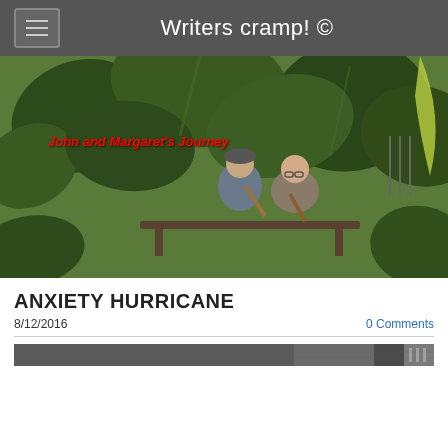Writers cramp! ©
[Figure (photo): Two elderly people (John and Margaret) sitting on a bench in a lush garden surrounded by large tropical leaves. Text overlay reads 'John and Margaret's Journey' in red italic.]
ANXIETY HURRICANE
8/12/2016
0 Comments
[Figure (photo): A narrow horizontal strip showing a partial outdoor/landscape image.]